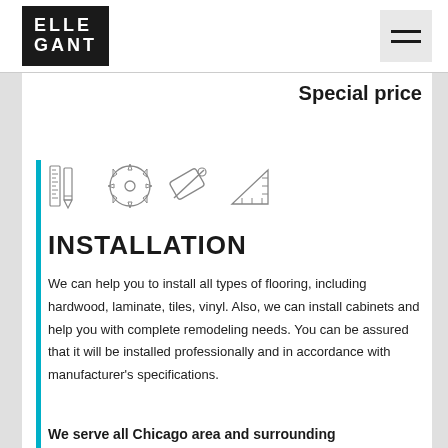ELLE GANT
Special price
[Figure (illustration): Four tool icons: ruler+pencil, circular saw, tape measure, and set square triangle]
INSTALLATION
We can help you to install all types of flooring, including hardwood, laminate, tiles, vinyl. Also, we can install cabinets and help you with complete remodeling needs. You can be assured that it will be installed professionally and in accordance with manufacturer's specifications.
We serve all Chicago area and surrounding